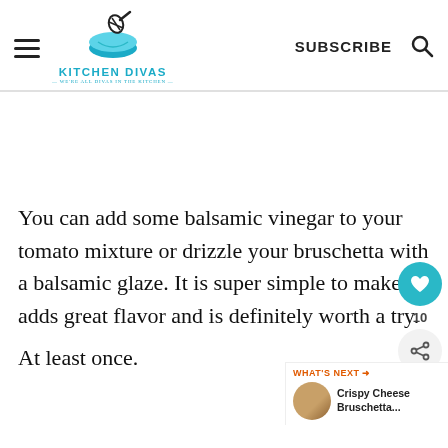Kitchen Divas — WE'RE ALL DIVAS IN THE KITCHEN
You can add some balsamic vinegar to your tomato mixture or drizzle your bruschetta with a balsamic glaze. It is super simple to make, adds great flavor and is definitely worth a try.
At least once.